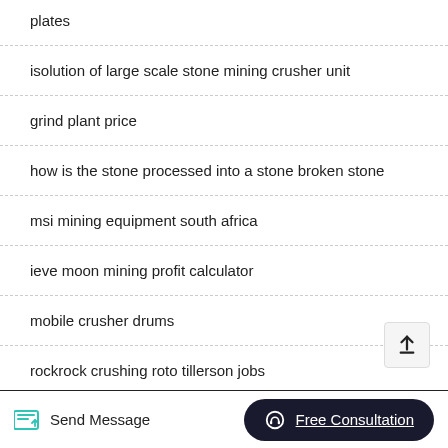plates
isolution of large scale stone mining crusher unit
grind plant price
how is the stone processed into a stone broken stone
msi mining equipment south africa
ieve moon mining profit calculator
mobile crusher drums
rockrock crushing roto tillerson jobs
Send Message   Free Consultation